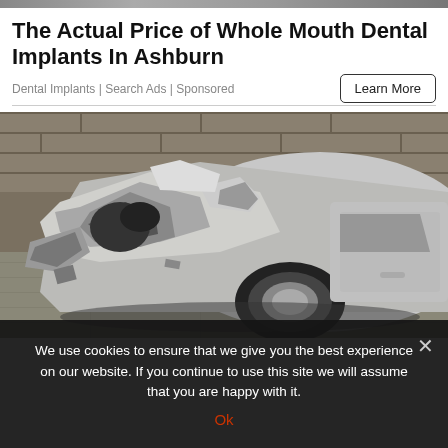The Actual Price of Whole Mouth Dental Implants In Ashburn
Dental Implants | Search Ads | Sponsored
[Figure (photo): Severely crashed white car with front end completely crumpled, photographed against a stone wall on a paved surface.]
We use cookies to ensure that we give you the best experience on our website. If you continue to use this site we will assume that you are happy with it.
Ok